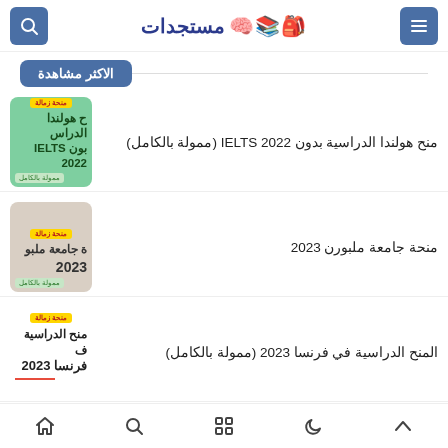مستجدات — header with search and menu buttons
الاكثر مشاهدة
منح هولندا الدراسية بدون IELTS 2022 (ممولة بالكامل)
منحة جامعة ملبورن 2023
المنح الدراسية في فرنسا 2023 (ممولة بالكامل)
Navigation icons: up, moon, grid, search, home